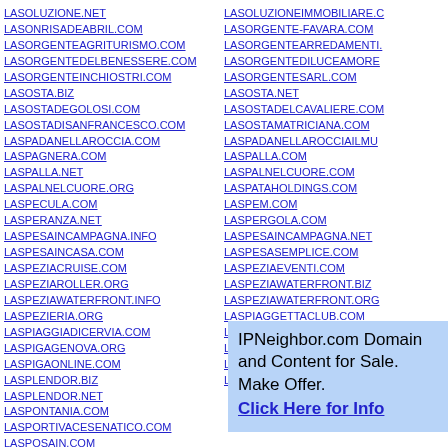LASOLUZIONE.NET
LASONRISADEABRIL.COM
LASORGENTEAGRITURISMO.COM
LASORGENTEDELBENESSERE.COM
LASORGENTEINCHIOSTRI.COM
LASOSTA.BIZ
LASOSTADEGOLOSI.COM
LASOSTADISANFRANCESCO.COM
LASPADANELLAROCCIA.COM
LASPAGNERA.COM
LASPALLA.NET
LASPALNELCUORE.ORG
LASPECULA.COM
LASPERANZA.NET
LASPESAINCAMPAGNA.INFO
LASPESAINCASA.COM
LASPEZIACRUISE.COM
LASPEZIAROLLER.ORG
LASPEZIAWATERFRONT.INFO
LASPEZIERIA.ORG
LASPIAGGIADICERVIA.COM
LASPIGAGENOVA.ORG
LASPIGAONLINE.COM
LASPLENDOR.BIZ
LASPLENDOR.NET
LASPONTANIA.COM
LASPORTIVACESENATICO.COM
LASPOSAIN.COM
LASOLUZIONEIMMOBILIARE.C...
LASORGENTE-FAVARA.COM
LASORGENTEARREDAMENTI...
LASORGENTEDILUCEAMORE...
LASORGENTESARL.COM
LASOSTA.NET
LASOSTADELCAVALIERE.COM...
LASOSTAMATRICIANA.COM
LASPADANELLAROCCIAILMU...
LASPALLA.COM
LASPALNELCUORE.COM
LASPATAHOLDINGS.COM
LASPEM.COM
LASPERGOLA.COM
LASPESAINCAMPAGNA.NET
LASPESASEMPLICE.COM
LASPEZIAEVENTI.COM
LASPEZIAWATERFRONT.BIZ
LASPEZIAWATERFRONT.ORG
LASPIAGGETTACLUB.COM
LASPIGACAMERE.COM
LASPIGALANGUAGES.COM
LASPIGASCUOLA.COM
LASPLENDOR.COM
IPNeighbor.com Domain and Content for Sale. Make Offer. Click Here for Info